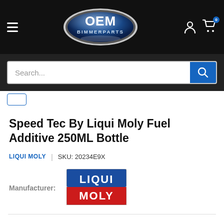OEM Bimmer Parts – navigation header with search bar
Speed Tec By Liqui Moly Fuel Additive 250ML Bottle
LIQUI MOLY  |  SKU: 20234E9X
Manufacturer: LIQUI MOLY
[Figure (logo): Liqui Moly brand logo – blue top half with LIQUI in white, red bottom half with MOLY in white]